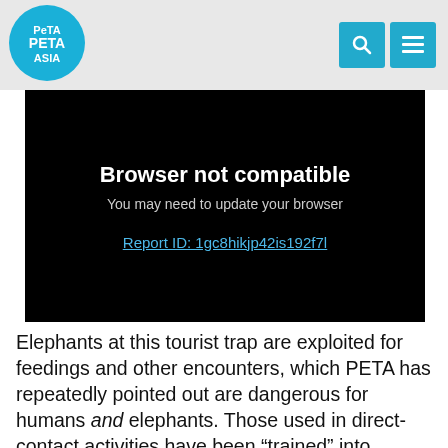PETA ASIA
[Figure (screenshot): Browser not compatible error screen on black background. Title: 'Browser not compatible'. Subtitle: 'You may need to update your browser'. Link: 'Report ID: 1gc8hikjp42is192f7l']
Elephants at this tourist trap are exploited for feedings and other encounters, which PETA has repeatedly pointed out are dangerous for humans and elephants. Those used in direct-contact activities have been “trained” into complacency—they’re abused until their spirits are broken and they’re willing to obey their trainers in order to avoid pain. However, as this incident and the laundry list of others mentioned below demonstrate, even animals in contact with the